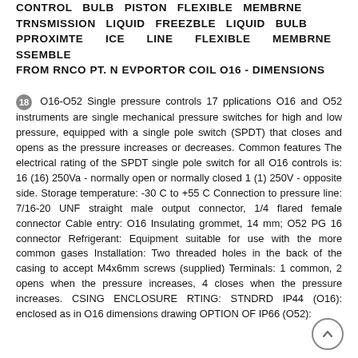CONTROL BULB PISTON FLEXIBLE MEMBRNE TRNSMISSION LIQUID FREEZBLE LIQUID BULB PPROXIMTE ICE LINE FLEXIBLE MEMBRNE SSEMBLE FROM RNCO PT. N EVPORTOR COIL O16 - Dimensions
18 O16-O52 Single pressure controls 17 pplications O16 and O52 instruments are single mechanical pressure switches for high and low pressure, equipped with a single pole switch (SPDT) that closes and opens as the pressure increases or decreases. Common features The electrical rating of the SPDT single pole switch for all O16 controls is: 16 (16) 250Va - normally open or normally closed 1 (1) 250V - opposite side. Storage temperature: -30 C to +55 C Connection to pressure line: 7/16-20 UNF straight male output connector, 1/4 flared female connector Cable entry: O16 Insulating grommet, 14 mm; O52 PG 16 connector Refrigerant: Equipment suitable for use with the more common gases Installation: Two threaded holes in the back of the casing to accept M4x6mm screws (supplied) Terminals: 1 common, 2 opens when the pressure increases, 4 closes when the pressure increases. CSING ENCLOSURE RTING: STNDRD IP44 (O16): enclosed as in O16 dimensions drawing OPTION OF IP66 (O52):